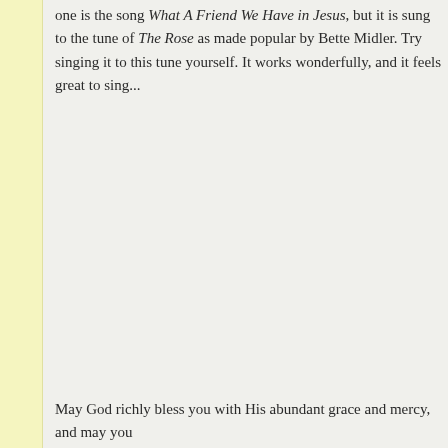one is the song What A Friend We Have in Jesus, but it is sung to the tune of The Rose as made popular by Bette Midler. Try singing it to this tune yourself. It works wonderfully, and it feels great to sing...
May God richly bless you with His abundant grace and mercy, and may you...